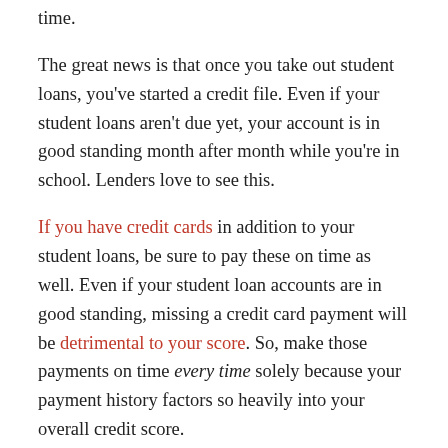time.
The great news is that once you take out student loans, you've started a credit file. Even if your student loans aren't due yet, your account is in good standing month after month while you're in school. Lenders love to see this.
If you have credit cards in addition to your student loans, be sure to pay these on time as well. Even if your student loan accounts are in good standing, missing a credit card payment will be detrimental to your score. So, make those payments on time every time solely because your payment history factors so heavily into your overall credit score.
3.  Debt Utilization
Having a low debt utilization percentage is a fancy way of saying that you're living within your means. Your debt utilization percentage is how much debt you have relative to